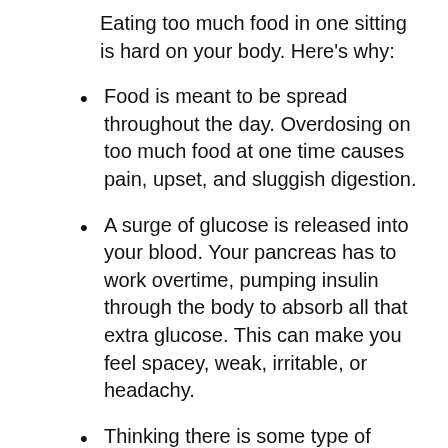Eating too much food in one sitting is hard on your body. Here's why:
Food is meant to be spread throughout the day. Overdosing on too much food at one time causes pain, upset, and sluggish digestion.
A surge of glucose is released into your blood. Your pancreas has to work overtime, pumping insulin through the body to absorb all that extra glucose. This can make you feel spacey, weak, irritable, or headachy.
Thinking there is some type of emergency, your adrenal glands go into “fight or